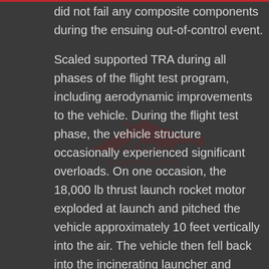a control problem on the first flight, and did not fail any composite components during the ensuing out-of-control event.
[Figure (logo): Scaled Composites watermark logo — stylized aircraft silhouette with 'SCALED COMPOSITES' text in dark red, displayed semi-transparently]
Scaled supported TRA during all phases of the flight test program, including aerodynamic improvements to the vehicle. During the flight test phase, the vehicle structure occasionally experienced significant overloads. On one occasion, the 18,000 lb thrust launch rocket motor exploded at launch and pitched the vehicle approximately 10 feet vertically into the air. The vehicle then fell back into the incinerating launcher and bounced out into the desert. The integrity of the fuel tank was